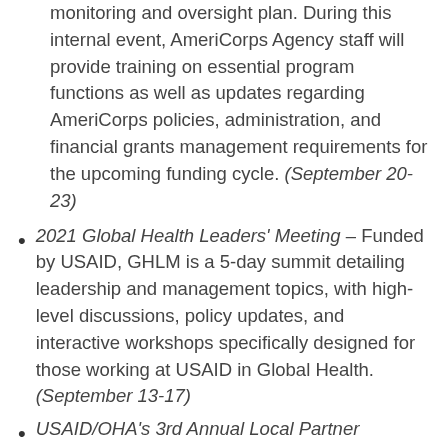monitoring and oversight plan. During this internal event, AmeriCorps Agency staff will provide training on essential program functions as well as updates regarding AmeriCorps policies, administration, and financial grants management requirements for the upcoming funding cycle. (September 20-23)
2021 Global Health Leaders' Meeting – Funded by USAID, GHLM is a 5-day summit detailing leadership and management topics, with high-level discussions, policy updates, and interactive workshops specifically designed for those working at USAID in Global Health. (September 13-17)
USAID/OHA's 3rd Annual Local Partner